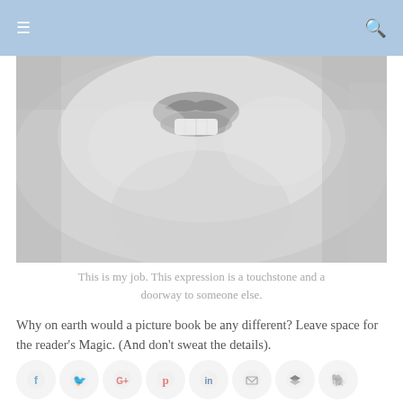≡ [menu] … [search]
[Figure (photo): Close-up greyscale photo of a smiling person's lower face and chin — lips and teeth visible, slightly blurred/soft focus]
This is my job. This expression is a touchstone and a doorway to someone else.
Why on earth would a picture book be any different? Leave space for the reader's Magic. (And don't sweat the details).
[Figure (infographic): Row of 8 social sharing icons: Facebook, Twitter, Google+, Pinterest, LinkedIn, Email, Buffer/Layers, Evernote]